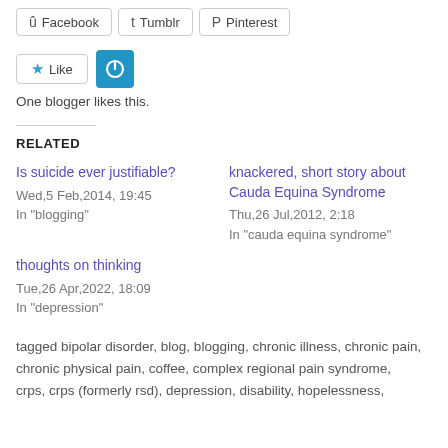[Figure (other): Social share buttons: Facebook, Tumblr, Pinterest]
[Figure (other): Like button with star icon and blue power/reblog button]
One blogger likes this.
RELATED
Is suicide ever justifiable?
Wed,5 Feb,2014, 19:45
In "blogging"
knackered, short story about Cauda Equina Syndrome
Thu,26 Jul,2012, 2:18
In "cauda equina syndrome"
thoughts on thinking
Tue,26 Apr,2022, 18:09
In "depression"
tagged bipolar disorder, blog, blogging, chronic illness, chronic pain, chronic physical pain, coffee, complex regional pain syndrome, crps, crps (formerly rsd), depression, disability, hopelessness,